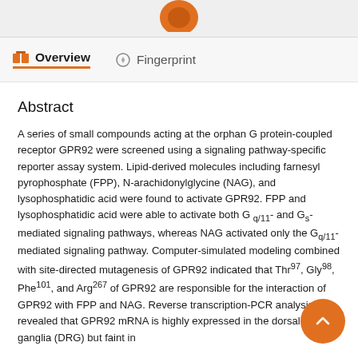[Elsevier logo partial]
Overview   Fingerprint
Abstract
A series of small compounds acting at the orphan G protein-coupled receptor GPR92 were screened using a signaling pathway-specific reporter assay system. Lipid-derived molecules including farnesyl pyrophosphate (FPP), N-arachidonylglycine (NAG), and lysophosphatidic acid were found to activate GPR92. FPP and lysophosphatidic acid were able to activate both G q/11- and G s-mediated signaling pathways, whereas NAG activated only the G q/11-mediated signaling pathway. Computer-simulated modeling combined with site-directed mutagenesis of GPR92 indicated that Thr97, Gly98, Phe101, and Arg267 of GPR92 are responsible for the interaction of GPR92 with FPP and NAG. Reverse transcription-PCR analysis revealed that GPR92 mRNA is highly expressed in the dorsal root ganglia (DRG) but faint in